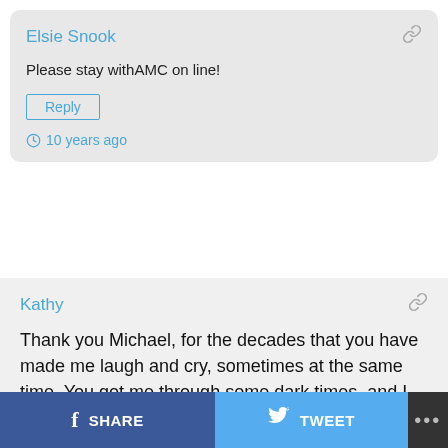Elsie Snook
Please stay withAMC on line!
Reply
10 years ago
Kathy
Thank you Michael, for the decades that you have made me laugh and cry, sometimes at the same time. You got me through some dark times, and I will forever be grateful for that. I hope you know just how deeply you are loved by so many. Please, keep pounding the pavement if you don't sign with PP. For me, you will always be the most beautiful girl at the dance. I will follow your career wherever it may lead. Be
SHARE
TWEET